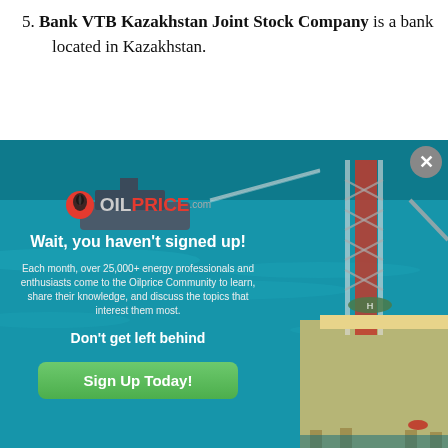5. Bank VTB Kazakhstan Joint Stock Company is a bank located in Kazakhstan.
[Figure (screenshot): OilPrice.com modal popup overlay with headline 'Wait, you haven't signed up!', body text about 25,000+ energy professionals, subheadline 'Don't get left behind', and a green 'Sign Up Today!' button. Right side shows photo of oil rig on blue ocean water with a navy ship in background.]
11. VTB Specialized Depository Closed Joint Stock Company is an intermediation and financial company located in Russia.